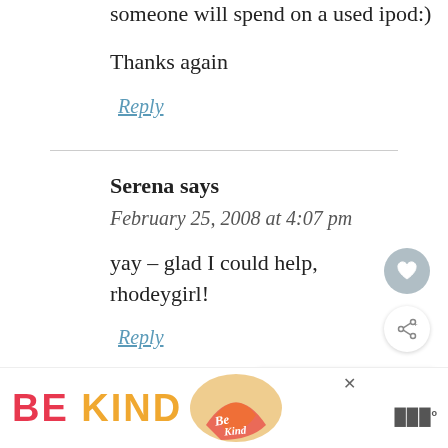someone will spend on a used ipod:)
Thanks again
Reply
Serena says
February 25, 2008 at 4:07 pm
yay – glad I could help, rhodeygirl!
Reply
WHAT'S NEXT → Run, Stretch, Eat
[Figure (infographic): BE KIND advertisement banner with decorative text image and close button]